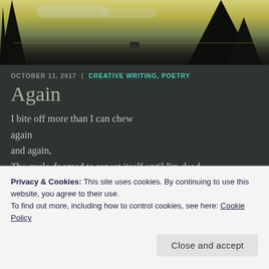[Figure (photo): Outdoor dusk/sunset photo showing silhouettes of trees against a yellow-green sky, with a car or utility box on a road and power lines visible]
OCTOBER 11, 2017   |   CREATIVE WRITING, POETRY
Again
I bite off more than I can chew
again
and again,
The cycle doomed to repeat itself until I'm dead.
My plate is overflowing
I don't think I can eat it all
Privacy & Cookies: This site uses cookies. By continuing to use this website, you agree to their use.
To find out more, including how to control cookies, see here: Cookie Policy
Close and accept